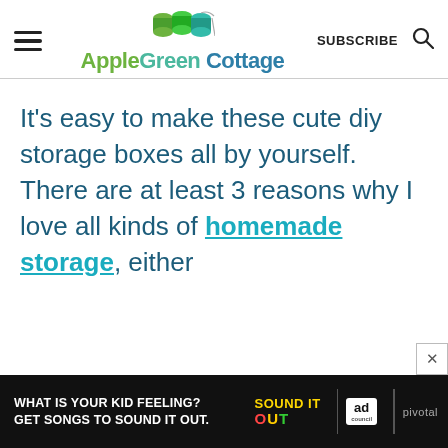AppleGreen Cottage — SUBSCRIBE [search icon]
It's easy to make these cute diy storage boxes all by yourself. There are at least 3 reasons why I love all kinds of homemade storage, either
[Figure (screenshot): Advertisement banner: 'WHAT IS YOUR KID FEELING? GET SONGS TO SOUND IT OUT.' with Sound It Out and Ad Council / Pivotal logos on black background]